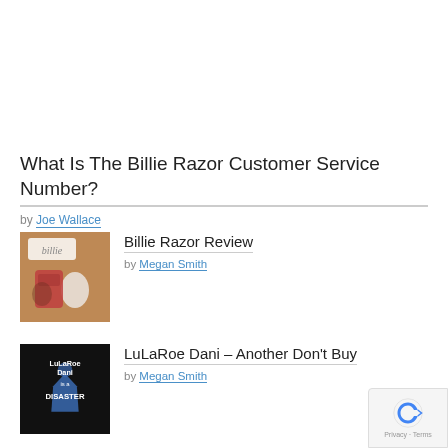What Is The Billie Razor Customer Service Number?
by Joe Wallace
[Figure (photo): Thumbnail image of Billie razor products with the billie logo visible on a brown/warm background]
Billie Razor Review
by Megan Smith
[Figure (photo): Black thumbnail image with text: LuLaRoe Dani is a DISASTER in white bold letters, with a blue dress silhouette graphic]
LuLaRoe Dani – Another Don't Buy
by Megan Smith